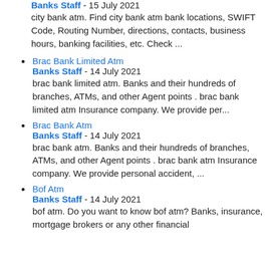Banks Staff - 15 July 2021
city bank atm. Find city bank atm bank locations, SWIFT Code, Routing Number, directions, contacts, business hours, banking facilities, etc. Check ...
Brac Bank Limited Atm
Banks Staff - 14 July 2021
brac bank limited atm. Banks and their hundreds of branches, ATMs, and other Agent points . brac bank limited atm Insurance company. We provide per...
Brac Bank Atm
Banks Staff - 14 July 2021
brac bank atm. Banks and their hundreds of branches, ATMs, and other Agent points . brac bank atm Insurance company. We provide personal accident, ...
Bof Atm
Banks Staff - 14 July 2021
bof atm. Do you want to know bof atm? Banks, insurance, mortgage brokers or any other financial